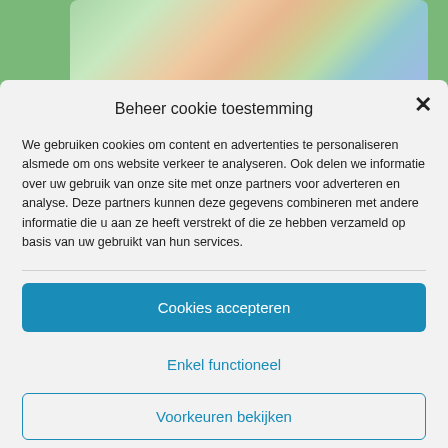[Figure (photo): Background photo showing a person in a colorful tropical-patterned outfit standing on grass, partially visible behind cookie consent modal]
Beheer cookie toestemming
We gebruiken cookies om content en advertenties te personaliseren alsmede om ons website verkeer te analyseren. Ook delen we informatie over uw gebruik van onze site met onze partners voor adverteren en analyse. Deze partners kunnen deze gegevens combineren met andere informatie die u aan ze heeft verstrekt of die ze hebben verzameld op basis van uw gebruikt van hun services.
Cookies accepteren
Enkel functioneel
Voorkeuren bekijken